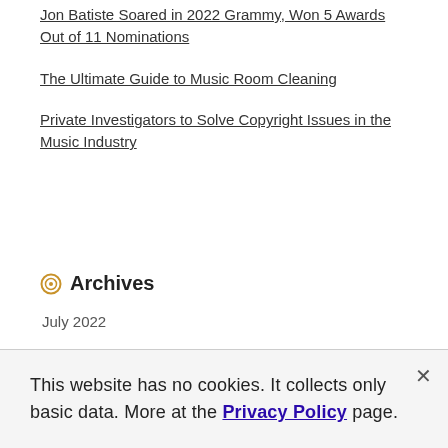Jon Batiste Soared in 2022 Grammy, Won 5 Awards Out of 11 Nominations
The Ultimate Guide to Music Room Cleaning
Private Investigators to Solve Copyright Issues in the Music Industry
Archives
July 2022
This website has no cookies. It collects only basic data. More at the Privacy Policy page.